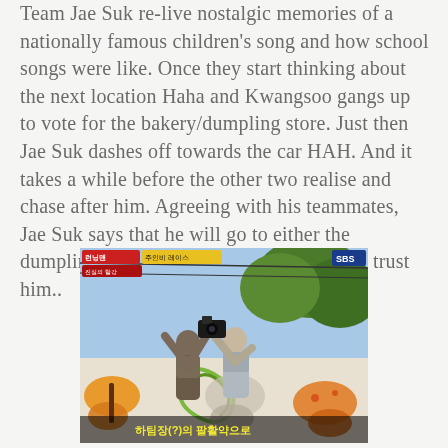Team Jae Suk re-live nostalgic memories of a nationally famous children's song and how school songs were like. Once they start thinking about the next location Haha and Kwangsoo gangs up to vote for the bakery/dumpling store. Just then Jae Suk dashes off towards the car HAH. And it takes a while before the other two realise and chase after him. Agreeing with his teammates, Jae Suk says that he will go to either the dumpling store or bakery and tells them to trust him..
[Figure (screenshot): A screenshot from the Korean TV show Running Man (런닝맨) on SBS. Two people are outdoors holding what appears to be a camera up in the air. In the background there is a wall mural with butterfly and floral designs, and trees. Korean text overlays are visible including show branding and subtitles reading '하팀장(?)의 팔활약으로'.]